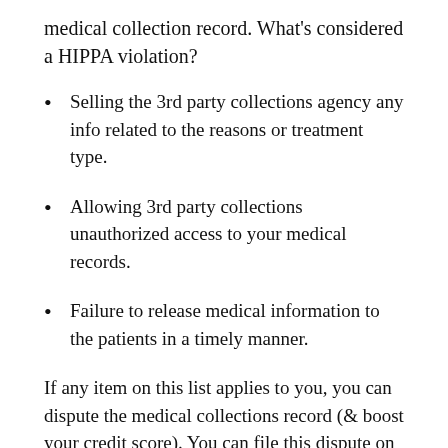medical collection record. What's considered a HIPPA violation?
Selling the 3rd party collections agency any info related to the reasons or treatment type.
Allowing 3rd party collections unauthorized access to your medical records.
Failure to release medical information to the patients in a timely manner.
If any item on this list applies to you, you can dispute the medical collections record (& boost your credit score). You can file this dispute on